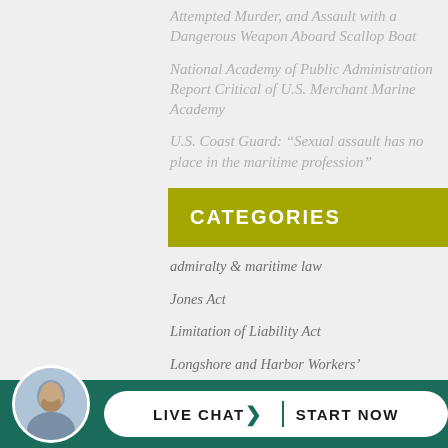Attempted Murder, and Assault with a Dangerous Weapon Aboard Scallop Boat
National Academy of Public Administration Report Critical of U.S. Merchant Marine Academy
U.S. Coast Guard: “Sexual assault has no place in the maritime profession”
CATEGORIES
admiralty & maritime law
Jones Act
Limitation of Liability Act
Longshore and Harbor Workers'